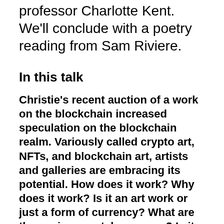professor Charlotte Kent. We'll conclude with a poetry reading from Sam Riviere.
In this talk
Christie's recent auction of a work on the blockchain increased speculation on the blockchain realm. Variously called crypto art, NFTs, and blockchain art, artists and galleries are embracing its potential. How does it work? Why does it work? Is it an art work or just a form of currency? What are the environmental concerns? Is it a way to help artists retain some fiscal control over their work? Is it just a tech bro scam? Join long-standing participants in the digital art realm for a discussion on why they have now